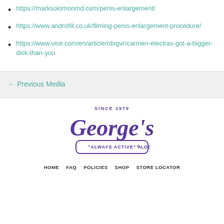https://marksolomonmd.com/penis-enlargement/
https://www.androfill.co.uk/filming-penis-enlargement-procedure/
https://www.vice.com/en/article/rdxgvr/carmen-electras-got-a-bigger-dick-than-you
← Previous Media
[Figure (logo): George's Aloe logo — script text 'George's' in purple with 'SINCE 1979' above and 'ALWAYS ACTIVE ALOE' in a purple rounded rectangle below]
HOME   FAQ   POLICIES   SHOP   STORE LOCATOR